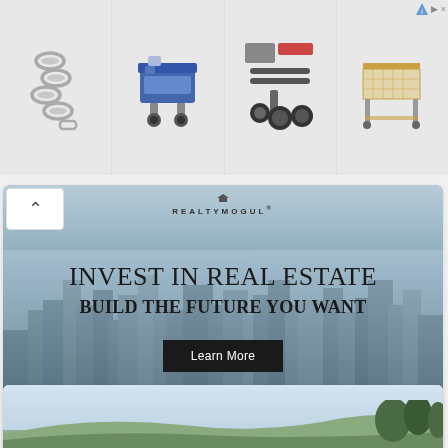[Figure (photo): Top ad banner showing 4 product images: a chain, a blue industrial machine, auto/mechanical parts, and a workshop table. AdChoices icon in top right corner.]
[Figure (photo): RealtyMogul advertisement banner showing city skyline with text 'INVEST IN REAL ESTATE / BUILD THE FUTURE YOU WANT' and a 'Learn More' button.]
$5.5B+ Property Value Financed
RealtyMogul™
[Figure (photo): Bottom partial landscape photo showing sky, mountains, and trees.]